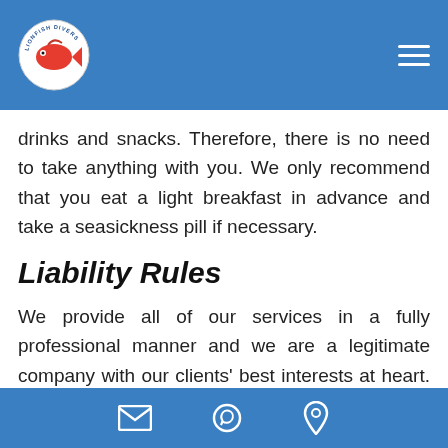[Figure (logo): Circular logo with a red fish and text around the border, on a blue header background]
drinks and snacks. Therefore, there is no need to take anything with you. We only recommend that you eat a light breakfast in advance and take a seasickness pill if necessary.
Liability Rules
We provide all of our services in a fully professional manner and we are a legitimate company with our clients' best interests at heart. However, we must make it clear that we
Email | WhatsApp | Location icons